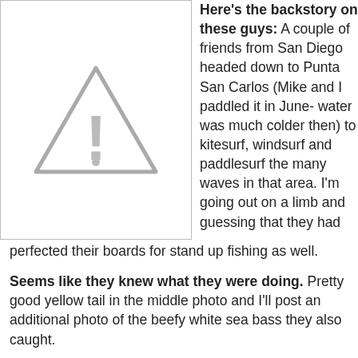[Figure (illustration): Warning/placeholder triangle icon with exclamation mark, gray colored, inside a bordered box]
Here's the backstory on these guys: A couple of friends from San Diego headed down to Punta San Carlos (Mike and I paddled it in June- water was much colder then) to kitesurf, windsurf and paddlesurf the many waves in that area. I'm going out on a limb and guessing that they had perfected their boards for stand up fishing as well.
Seems like they knew what they were doing. Pretty good yellow tail in the middle photo and I'll post an additional photo of the beefy white sea bass they also caught.
If anybody knows these guys, shoot me an email so I can give them proper credit. I vaguely recognize one of these guys as a North County kiteboarder- let me know.
One more thing: The Laird 12'0 looks perfectly suited for this purpose- check out the milkcrate lashed to the deck...